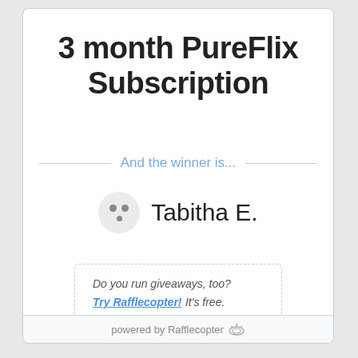3 month PureFlix Subscription
And the winner is...
Tabitha E.
Do you run giveaways, too? Try Rafflecopter! It's free.
powered by Rafflecopter